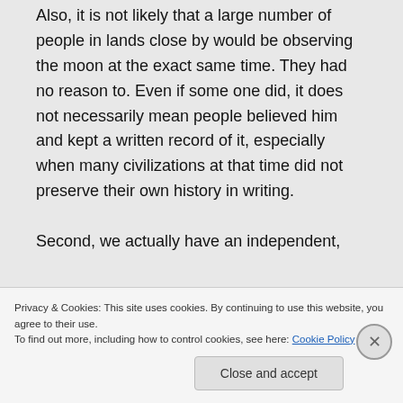Also, it is not likely that a large number of people in lands close by would be observing the moon at the exact same time. They had no reason to. Even if some one did, it does not necessarily mean people believed him and kept a written record of it, especially when many civilizations at that time did not preserve their own history in writing.

Second, we actually have an independent,
Privacy & Cookies: This site uses cookies. By continuing to use this website, you agree to their use.
To find out more, including how to control cookies, see here: Cookie Policy